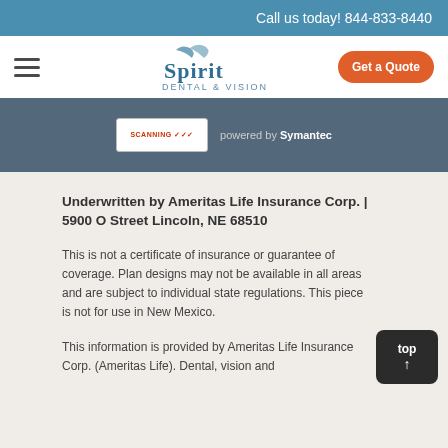Call us today! 844-833-8440
[Figure (logo): Spirit Dental & Vision logo with navigation bar including hamburger menu and Get a Quote button]
[Figure (screenshot): Security scanning badge powered by Symantec on dark blue-grey banner]
Underwritten by Ameritas Life Insurance Corp. | 5900 O Street Lincoln, NE 68510
This is not a certificate of insurance or guarantee of coverage. Plan designs may not be available in all areas and are subject to individual state regulations. This piece is not for use in New Mexico.
This information is provided by Ameritas Life Insurance Corp. (Ameritas Life). Dental, vision and